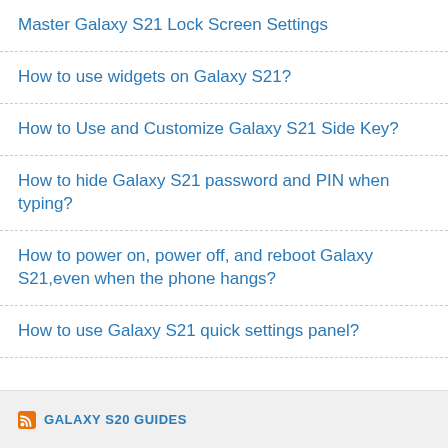Master Galaxy S21 Lock Screen Settings
How to use widgets on Galaxy S21?
How to Use and Customize Galaxy S21 Side Key?
How to hide Galaxy S21 password and PIN when typing?
How to power on, power off, and reboot Galaxy S21,even when the phone hangs?
How to use Galaxy S21 quick settings panel?
GALAXY S20 GUIDES